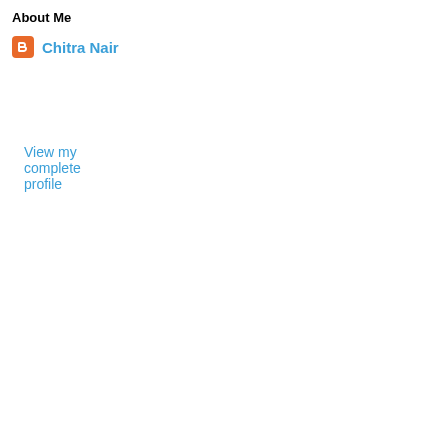About Me
Chitra Nair
View my complete profile